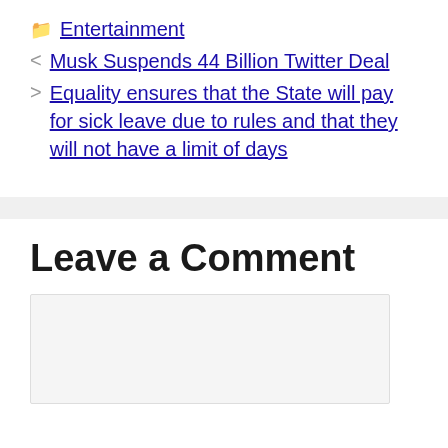Entertainment
Musk Suspends 44 Billion Twitter Deal
Equality ensures that the State will pay for sick leave due to rules and that they will not have a limit of days
Leave a Comment